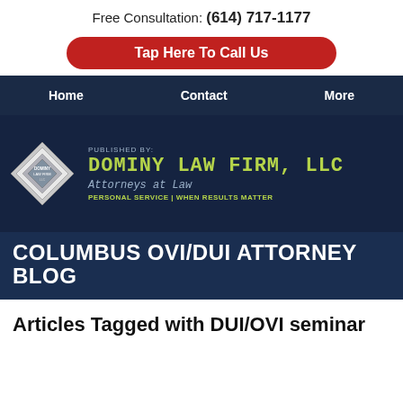Free Consultation: (614) 717-1177
Tap Here To Call Us
Home | Contact | More
[Figure (logo): Dominy Law Firm, LLC logo with diamond shape and firm name, attorneys at law, personal service when results matter]
COLUMBUS OVI/DUI ATTORNEY BLOG
Articles Tagged with DUI/OVI seminar